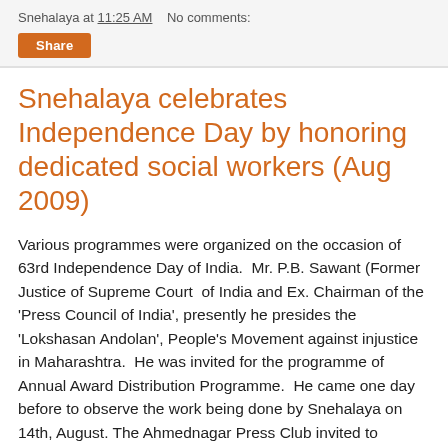Snehalaya at 11:25 AM   No comments:
Share
Snehalaya celebrates Independence Day by honoring dedicated social workers (Aug 2009)
Various programmes were organized on the occasion of 63rd Independence Day of India.  Mr. P.B. Sawant (Former Justice of Supreme Court  of India and Ex. Chairman of the 'Press Council of India', presently he presides the 'Lokshasan Andolan', People's Movement against injustice in Maharashtra.  He was invited for the programme of Annual Award Distribution Programme.  He came one day before to observe the work being done by Snehalaya on 14th, August.  The Ahmednagar Press Club invited to discuss with him and organized the Press Conference on the same day more than 50 representative of renowned electronic and print media.  He focused on the roles, responsibilities and power of media